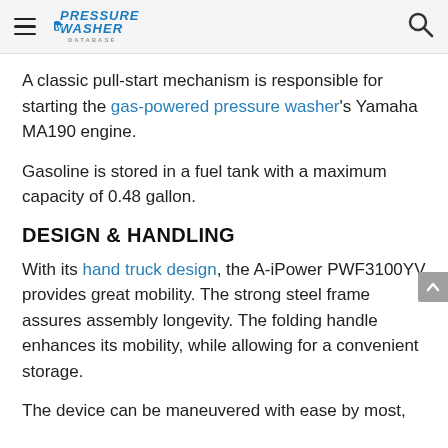Pressure Washer Database
A classic pull-start mechanism is responsible for starting the gas-powered pressure washer's Yamaha MA190 engine.
Gasoline is stored in a fuel tank with a maximum capacity of 0.48 gallon.
DESIGN & HANDLING
With its hand truck design, the A-iPower PWF3100YV provides great mobility. The strong steel frame assures assembly longevity. The folding handle enhances its mobility, while allowing for a convenient storage.
The device can be maneuvered with ease by most,